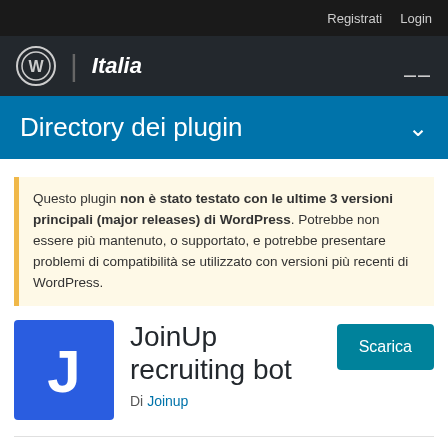Registrati  Login
WordPress | Italia
Directory dei plugin
Questo plugin non è stato testato con le ultime 3 versioni principali (major releases) di WordPress. Potrebbe non essere più mantenuto, o supportato, e potrebbe presentare problemi di compatibilità se utilizzato con versioni più recenti di WordPress.
[Figure (logo): JoinUp plugin icon — blue square with white letter J]
JoinUp recruiting bot
Di Joinup